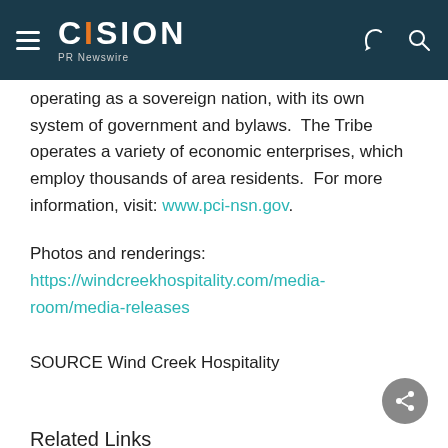CISION PR Newswire
operating as a sovereign nation, with its own system of government and bylaws.  The Tribe operates a variety of economic enterprises, which employ thousands of area residents.  For more information, visit: www.pci-nsn.gov.
Photos and renderings:
https://windcreekhospitality.com/media-room/media-releases
SOURCE Wind Creek Hospitality
Related Links